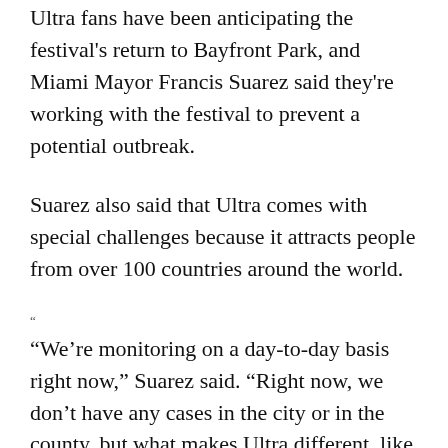Ultra fans have been anticipating the festival's return to Bayfront Park, and Miami Mayor Francis Suarez said they're working with the festival to prevent a potential outbreak.
Suarez also said that Ultra comes with special challenges because it attracts people from over 100 countries around the world.
“We’re monitoring on a day-to-day basis right now,” Suarez said. “Right now, we don’t have any cases in the city or in the county, but what makes Ultra different, like I said, is that it is an event that brings people from across the world. I mean, according to their website, 105 countries.”